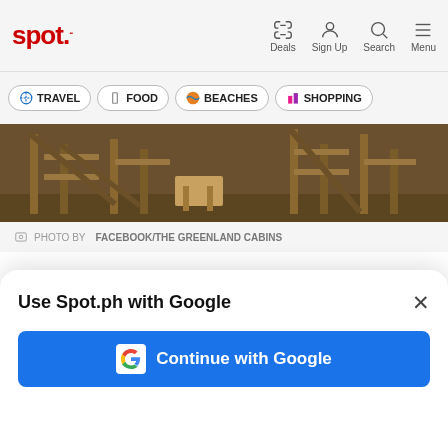spot. | Deals | Sign Up | Search | Menu
TRAVEL
FOOD
BEACHES
SHOPPING
[Figure (photo): Outdoor campground scene with wooden cabin structures and furniture]
PHOTO BY FACEBOOK/THE GREENLAND CABINS
On the campgrounds, you’ll find yourself walking in between hundreds of trees and taking in the silence, occasionally punctuated by the cool, whistling breeze and the twittering of birds perched on the high
[Figure (screenshot): Use Spot.ph with Google modal dialog with Continue with Google button]